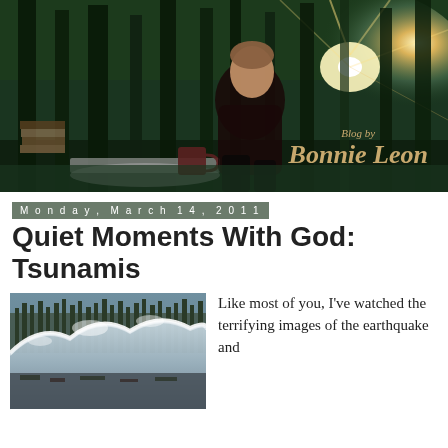[Figure (photo): Blog header image showing author Bonnie Leon seated with a coffee mug, with a sunlit forest background and 'Blog by Bonnie Leon' text overlay]
Monday, March 14, 2011
Quiet Moments With God: Tsunamis
[Figure (photo): Photograph of a massive tsunami wave crashing over a coastal area with trees and debris]
Like most of you, I've watched the terrifying images of the earthquake and